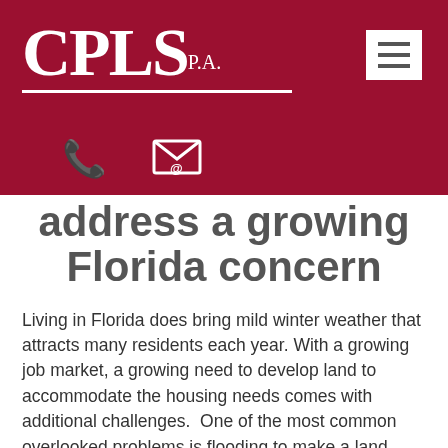[Figure (logo): CPLS P.A. law firm logo in white on dark red background with horizontal rule beneath, phone icon and email icon below]
address a growing Florida concern
Living in Florida does bring mild winter weather that attracts many residents each year. With a growing job market, a growing need to develop land to accommodate the housing needs comes with additional challenges.  One of the most common overlooked problems is flooding to make a land unusable due to poorly or negligently designed drainage system that was designed and installed by another developer without consideration of other landowners or future development.